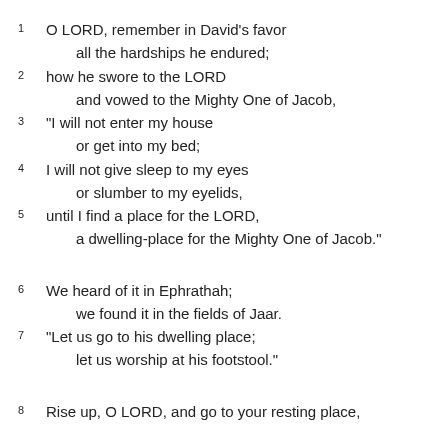1 O LORD, remember in David's favor all the hardships he endured;
2 how he swore to the LORD and vowed to the Mighty One of Jacob,
3 “I will not enter my house or get into my bed;
4 I will not give sleep to my eyes or slumber to my eyelids,
5 until I find a place for the LORD, a dwelling-place for the Mighty One of Jacob.”
6 We heard of it in Ephrathah; we found it in the fields of Jaar.
7 “Let us go to his dwelling place; let us worship at his footstool.”
8 Rise up, O LORD, and go to your resting place,